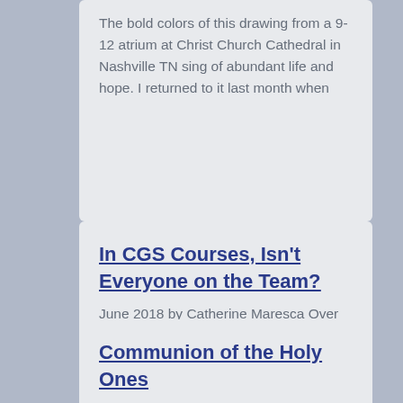The bold colors of this drawing from a 9-12 atrium at Christ Church Cathedral in Nashville TN sing of abundant life and hope. I returned to it last month when
In CGS Courses, Isn't Everyone on the Team?
June 2018 by Catherine Maresca Over the last ten years or so I've been considering the benefits and challenges of providing more than one formation leader for small CGS courses.
Communion of the Holy Ones
Monthly letters to help put the work of the catechist of the Good Shepherd into the context of the larger world · from the archives October 2016 by Catherine